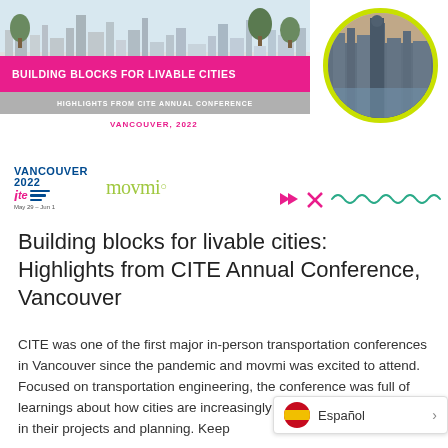[Figure (illustration): Conference header banner with city skyline illustration in grayscale, pink banner reading BUILDING BLOCKS FOR LIVABLE CITIES, gray sub-banner reading HIGHLIGHTS FROM CITE ANNUAL CONFERENCE, Vancouver 2022 text in pink, and circular photo of Vancouver skyline with yellow-green border. Vancouver 2022 ITE logo and movmi logo below.]
Building blocks for livable cities: Highlights from CITE Annual Conference, Vancouver
CITE was one of the first major in-person transportation conferences in Vancouver since the pandemic and movmi was excited to attend. Focused on transportation engineering, the conference was full of learnings about how cities are increasingly aligning sustainable living in their projects and planning. Keep